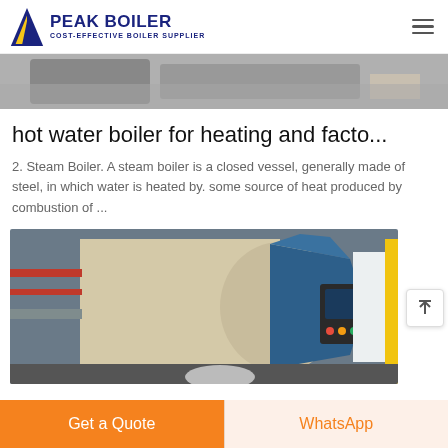PEAK BOILER - COST-EFFECTIVE BOILER SUPPLIER
[Figure (photo): Partial view of industrial boiler equipment in a factory setting (top portion cropped)]
hot water boiler for heating and facto...
2. Steam Boiler. A steam boiler is a closed vessel, generally made of steel, in which water is heated by. some source of heat produced by combustion of ...
[Figure (photo): Industrial steam boiler with blue casing and control panel in a factory setting]